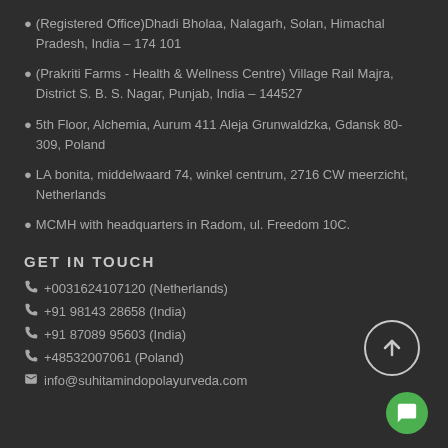(Registered Office)Dhadi Bholaa, Nalagarh, Solan, Himachal Pradesh, India – 174 101
(Prakriti Farms - Health & Wellness Centre) Village Rail Majra, District S. B. S. Nagar, Punjab, India – 144527
5th Floor, Alchemia, Aurum 411 Aleja Grunwaldzka, Gdansk 80-309, Poland
LA bonita, middelwaard 74, winkel centrum, 2716 CW meerzicht, Netherlands
MCMH with headquarters in Radom, ul. Freedom 10C.
GET IN TOUCH
+0031624107120 (Netherlands)
+91 98143 28658 (India)
+91 87089 95603 (India)
+48532007061 (Poland)
info@suhitamindopolayurveda.com